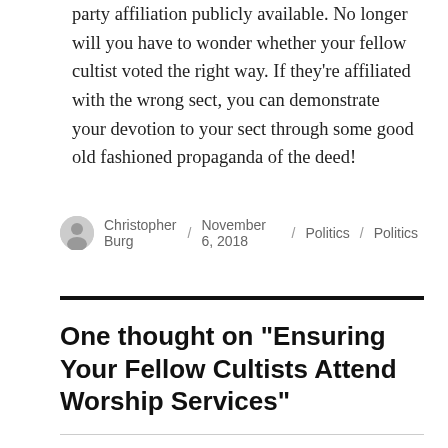party affiliation publicly available. No longer will you have to wonder whether your fellow cultist voted the right way. If they're affiliated with the wrong sect, you can demonstrate your devotion to your sect through some good old fashioned propaganda of the deed!
Christopher Burg / November 6, 2018 / Politics / Politics
One thought on “Ensuring Your Fellow Cultists Attend Worship Services”
Steve